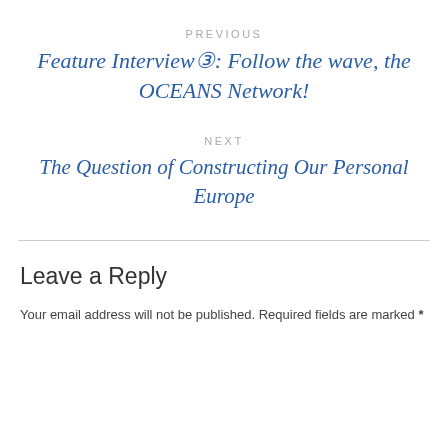PREVIOUS
Feature Interview③: Follow the wave, the OCEANS Network!
NEXT
The Question of Constructing Our Personal Europe
Leave a Reply
Your email address will not be published. Required fields are marked *